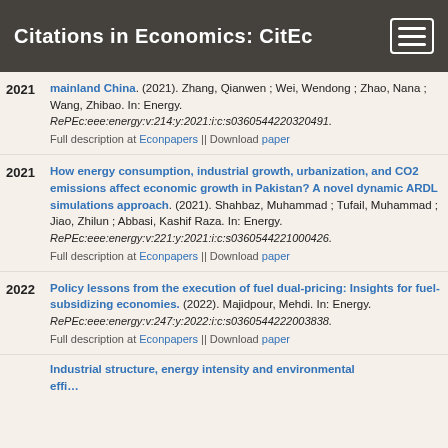Citations in Economics: CitEc
mainland China. (2021). Zhang, Qianwen ; Wei, Wendong ; Zhao, Nana ; Wang, Zhibao. In: Energy. RePEc:eee:energy:v:214:y:2021:i:c:s0360544220320491. Full description at Econpapers || Download paper
How energy consumption, industrial growth, urbanization, and CO2 emissions affect economic growth in Pakistan? A novel dynamic ARDL simulations approach. (2021). Shahbaz, Muhammad ; Tufail, Muhammad ; Jiao, Zhilun ; Abbasi, Kashif Raza. In: Energy. RePEc:eee:energy:v:221:y:2021:i:c:s0360544221000426. Full description at Econpapers || Download paper
Policy lessons from the execution of fuel dual-pricing: Insights for fuel-subsidizing economies. (2022). Majidpour, Mehdi. In: Energy. RePEc:eee:energy:v:247:y:2022:i:c:s0360544222003838. Full description at Econpapers || Download paper
Industrial structure, energy intensity and environmental efficiency...